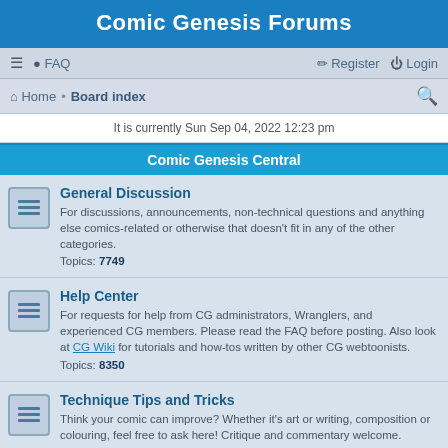Comic Genesis Forums
≡  FAQ   Register  Login
Home · Board index
It is currently Sun Sep 04, 2022 12:23 pm
Comic Genesis Central
General Discussion
For discussions, announcements, non-technical questions and anything else comics-related or otherwise that doesn't fit in any of the other categories.
Topics: 7749
Help Center
For requests for help from CG administrators, Wranglers, and experienced CG members. Please read the FAQ before posting. Also look at CG Wiki for tutorials and how-tos written by other CG webtoonists.
Topics: 8350
Technique Tips and Tricks
Think your comic can improve? Whether it's art or writing, composition or colouring, feel free to ask here! Critique and commentary welcome.
Topics: 1900
Comic Pitching
This is where you advertise your webcomic to your new audience, and get it reviewed by the community. Read the rules before pitching.
Topics: 1970
Dropdowns and Crossovers